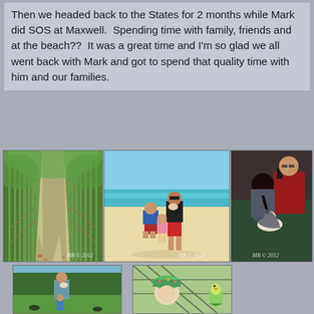Then we headed back to the States for 2 months while Mark did SOS at Maxwell.  Spending time with family, friends and at the beach??  It was a great time and I'm so glad we all went back with Mark and got to spend that quality time with him and our families.
[Figure (photo): Green forest path with trees arching overhead, wooden fence railing on right. Watermark: MB © 2012]
[Figure (photo): Family at the beach: man kneeling in blue shirt and red shorts, woman standing holding infant in red outfit, young girl in pink swimsuit. Ocean in background. Watermark: MB © 2012]
[Figure (photo): Couple on couch with newborn baby, woman leaning down to baby, man wearing red shirt with text. Watermark: MB © 2012]
[Figure (photo): Man holding baby outdoors, young child at his feet, green grass, trees in background with birds.]
[Figure (photo): Baby wearing green floral hat sitting in stroller/seat outdoors, parakeet/budgie bird visible to the right.]